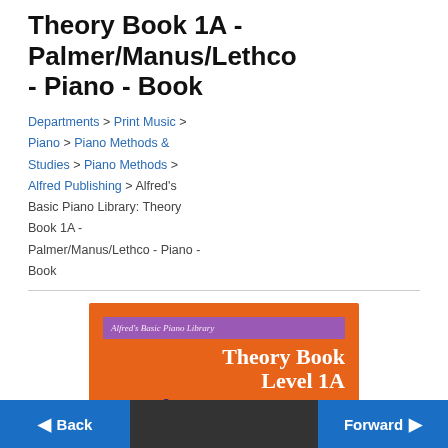Theory Book 1A - Palmer/Manus/Lethco - Piano - Book
Departments > Print Music > Piano > Piano Methods & Studies > Piano Methods > Alfred Publishing > Alfred's Basic Piano Library: Theory Book 1A - Palmer/Manus/Lethco - Piano - Book
[Figure (photo): Book cover of Alfred's Basic Piano Library Theory Book Level 1A. Orange cover with purple banner at top reading 'Alfred's Basic Piano Library', white text 'Theory Book Level 1A' on the right, large dark blue italic 'Piano' text in the middle, and a white bar at the bottom.]
Back | Forward